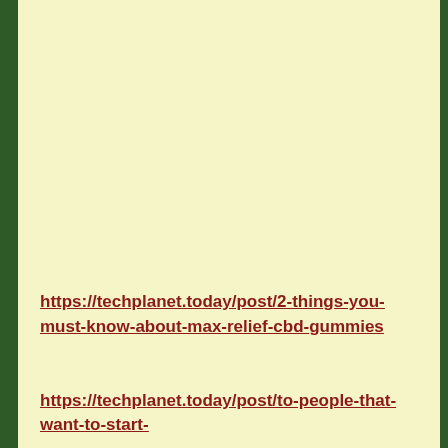https://techplanet.today/post/2-things-you-must-know-about-max-relief-cbd-gummies
https://techplanet.today/post/to-people-that-want-to-start-